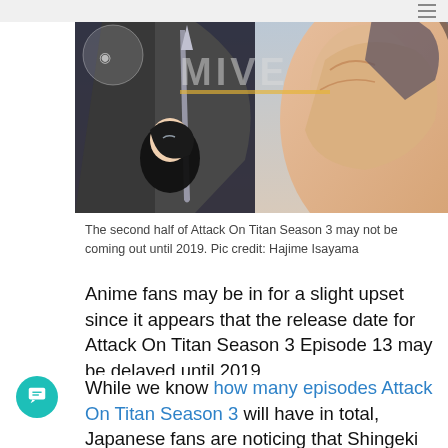[Figure (illustration): Attack on Titan manga/anime artwork showing armored titan and characters with blades. Overlay shows partial website logo text with yellow underline on a transparent background.]
The second half of Attack On Titan Season 3 may not be coming out until 2019. Pic credit: Hajime Isayama
Anime fans may be in for a slight upset since it appears that the release date for Attack On Titan Season 3 Episode 13 may be delayed until 2019.
While we know how many episodes Attack On Titan Season 3 will have in total, Japanese fans are noticing that Shingeki no Kyojin Season 3 Part 2 is not being listed for